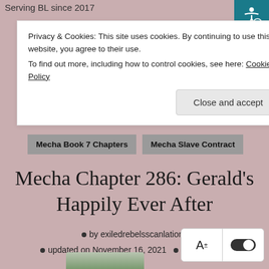Serving BL since 2017
Privacy & Cookies: This site uses cookies. By continuing to use this website, you agree to their use.
To find out more, including how to control cookies, see here: Cookie Policy
Close and accept
Mecha Book 7 Chapters
Mecha Slave Contract
Mecha Chapter 286: Gerald's Happily Ever After
by exiledrebelsscanlations
updated on November 16, 2021  •  4 Comments